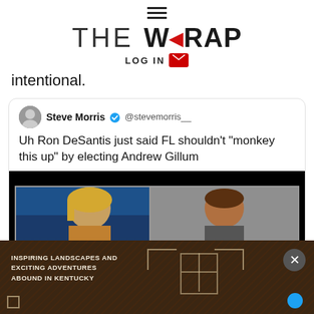THE WRAP — LOG IN
intentional.
[Figure (screenshot): Embedded tweet from Steve Morris (@stevemorris__) with blue verification checkmark, text: 'Uh Ron DeSantis just said FL shouldn't "monkey this up" by electing Andrew Gillum', with a video thumbnail showing two news anchors side by side]
[Figure (other): Advertisement banner with dark wood texture background, text 'INSPIRING LANDSCAPES AND EXCITING ADVENTURES ABOUND IN KENTUCKY', with targeting crosshair graphics, a close (X) button, and a small blue circle in bottom right]